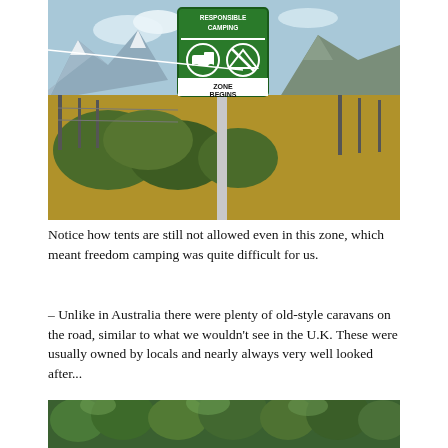[Figure (photo): A green 'Responsible Camping Zone Begins' sign on a post in a rural New Zealand landscape with mountains, fencing, and scrubland in the background. The sign shows icons for self-contained vehicles allowed and tents not allowed.]
Notice how tents are still not allowed even in this zone, which meant freedom camping was quite difficult for us.
– Unlike in Australia there were plenty of old-style caravans on the road, similar to what we wouldn't see in the U.K. These were usually owned by locals and nearly always very well looked after...
[Figure (photo): A dense green forest of trees viewed from below or at road level.]